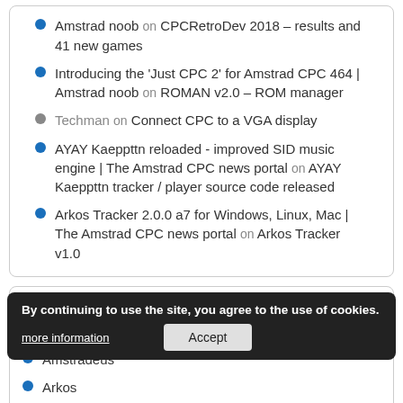Amstrad noob on CPCRetroDev 2018 – results and 41 new games
Introducing the 'Just CPC 2' for Amstrad CPC 464 | Amstrad noob on ROMAN v2.0 – ROM manager
Techman on Connect CPC to a VGA display
AYAY Kaeppttn reloaded - improved SID music engine | The Amstrad CPC news portal on AYAY Kaeppttn tracker / player source code released
Arkos Tracker 2.0.0 a7 for Windows, Linux, Mac | The Amstrad CPC news portal on Arkos Tracker v1.0
Other CPC pages
Amstrad ESP
Amstradeus
Arkos
BZH Games
Cent Pour Cent
CPC Mania
CPC Buloz
By continuing to use the site, you agree to the use of cookies. more information  Accept